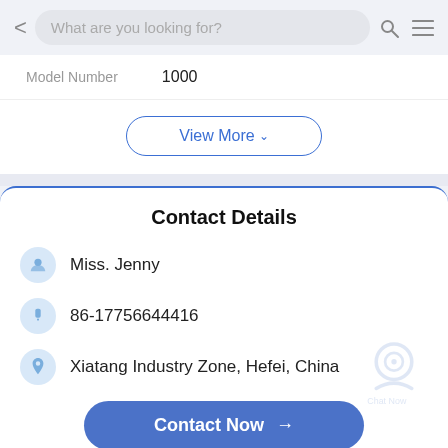What are you looking for?
Model Number   1000
View More
Contact Details
Miss. Jenny
86-17756644416
Xiatang Industry Zone, Hefei, China
Contact Now →